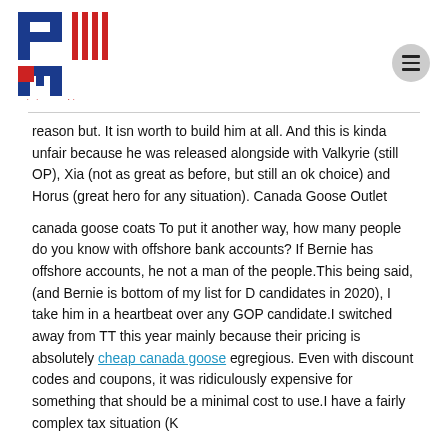[Figure (logo): Printing Machine logo — blue square P shape with red vertical bars and blue M shape with red square accent, text 'printing machine' in red below]
reason but. It isn worth to build him at all. And this is kinda unfair because he was released alongside with Valkyrie (still OP), Xia (not as great as before, but still an ok choice) and Horus (great hero for any situation). Canada Goose Outlet
canada goose coats To put it another way, how many people do you know with offshore bank accounts? If Bernie has offshore accounts, he not a man of the people.This being said, (and Bernie is bottom of my list for D candidates in 2020), I take him in a heartbeat over any GOP candidate.I switched away from TT this year mainly because their pricing is absolutely cheap canada goose egregious. Even with discount codes and coupons, it was ridiculously expensive for something that should be a minimal cost to use.I have a fairly complex tax situation (K